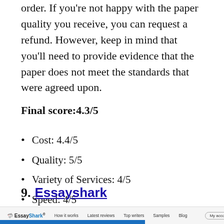order. If you're not happy with the paper quality you receive, you can request a refund. However, keep in mind that you'll need to provide evidence that the paper does not meet the standards that were agreed upon.
Final score:4.3/5
Cost: 4.4/5
Quality: 5/5
Variety of Services: 4/5
Speed: 4/5
9. Essayshark
[Figure (screenshot): Screenshot of the EssayShark website showing the navigation bar with logo, menu items (How it works, Latest reviews, Top writers, Samples, Blog) and a My account button, with a blue banner at the bottom.]